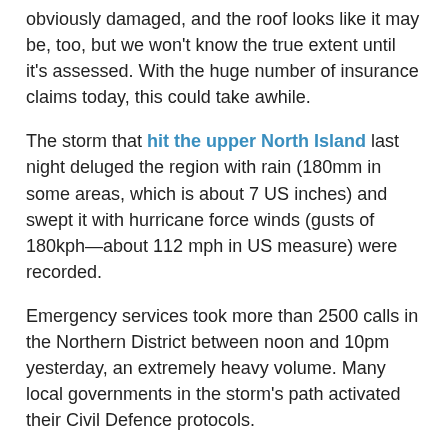obviously damaged, and the roof looks like it may be, too, but we won't know the true extent until it's assessed. With the huge number of insurance claims today, this could take awhile.
The storm that hit the upper North Island last night deluged the region with rain (180mm in some areas, which is about 7 US inches) and swept it with hurricane force winds (gusts of 180kph—about 112 mph in US measure) were recorded.
Emergency services took more than 2500 calls in the Northern District between noon and 10pm yesterday, an extremely heavy volume. Many local governments in the storm's path activated their Civil Defence protocols.
Yesterday evening, ferry service on Auckland Harbour was cancelled, as was some train service (the latter mostly due to flooding). Motorcycles were banned from the Auckland Harbour Bridge after two cyclists were blown off their motorbikes. And power was knocked out to a large part of the area, including 90,000 homes and the Auckland Harbour Bridge (but not us—our power stayed on). Flooding was